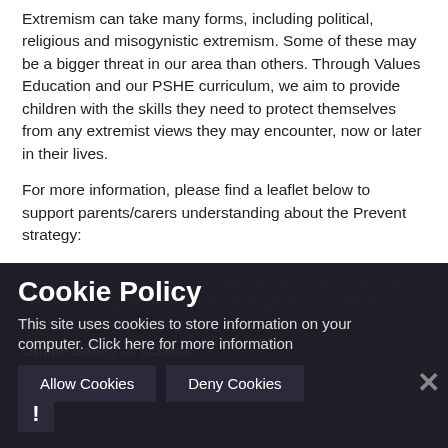Extremism can take many forms, including political, religious and misogynistic extremism. Some of these may be a bigger threat in our area than others. Through Values Education and our PSHE curriculum, we aim to provide children with the skills they need to protect themselves from any extremist views they may encounter, now or later in their lives.
For more information, please find a leaflet below to support parents/carers understanding about the Prevent strategy:
Online Safety
[Figure (screenshot): Dark background section partially visible with text about online safety and a cookie policy overlay dialog. The cookie policy dialog contains the title 'Cookie Policy', body text 'This site uses cookies to store information on your computer. Click here for more information', two buttons 'Allow Cookies' and 'Deny Cookies', a close X button, and a warning icon with an exclamation mark.]